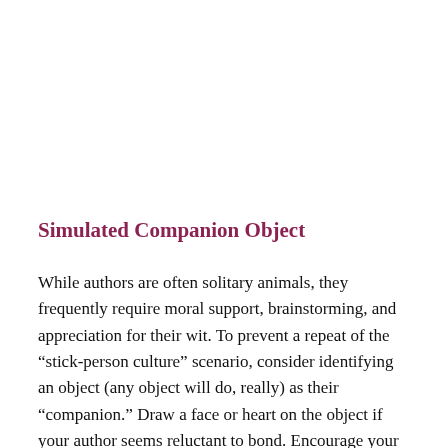Simulated Companion Object
While authors are often solitary animals, they frequently require moral support, brainstorming, and appreciation for their wit. To prevent a repeat of the “stick-person culture” scenario, consider identifying an object (any object will do, really) as their “companion.” Draw a face or heart on the object if your author seems reluctant to bond. Encourage your author to “just bounce some ideas off of it” to get things rolling. You will know you have succeeded when your author creates social media accounts for the companion object. You have gone too far if the author begins